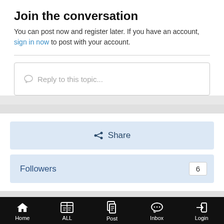Join the conversation
You can post now and register later. If you have an account, sign in now to post with your account.
Reply to this topic...
Share
Followers  6
Go to topic listing
Home  ALL  Post  Inbox  Login